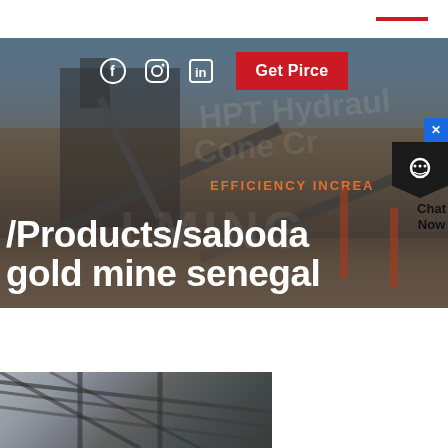[Figure (photo): Hero banner showing industrial mining equipment/machinery facility with conveyor belts and processing equipment against a grey-blue sky. Text overlay reads '/Products/saboda gold mine senegal' with social media icons (Facebook, Instagram, LinkedIn), a 'Get Pirce' red button, watermark text 'HPT Hydraulic Cone Cr...' and 'EFFICIENCY INCREA...' orange text. A chat widget is visible on the right side.]
/Products/saboda gold mine senegal
[Figure (photo): Bottom partial photo showing interior of an industrial building with steel roof trusses visible.]